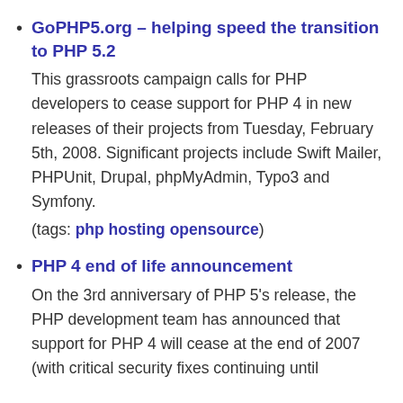GoPHP5.org – helping speed the transition to PHP 5.2
This grassroots campaign calls for PHP developers to cease support for PHP 4 in new releases of their projects from Tuesday, February 5th, 2008. Significant projects include Swift Mailer, PHPUnit, Drupal, phpMyAdmin, Typo3 and Symfony.
(tags: php hosting opensource)
PHP 4 end of life announcement
On the 3rd anniversary of PHP 5's release, the PHP development team has announced that support for PHP 4 will cease at the end of 2007 (with critical security fixes continuing until